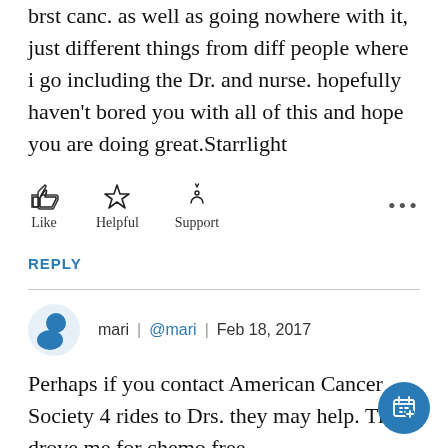brst canc. as well as going nowhere with it, just different things from diff people where i go including the Dr. and nurse. hopefully haven't bored you with all of this and hope you are doing great.Starrlight
[Figure (infographic): Action buttons row with thumbs-up (Like), star (Helpful), heart-in-hand (Support) icons, and three-dot menu]
REPLY
[Figure (illustration): User avatar (blue circle/blob icon) with username 'mari', mention '@mari', and date 'Feb 18, 2017']
Perhaps if you contact American Cancer Society 4 rides to Drs. they may help. They drove me for chemo free
[Figure (illustration): Floating action button (blue circle) with calendar/add icon in bottom right corner]